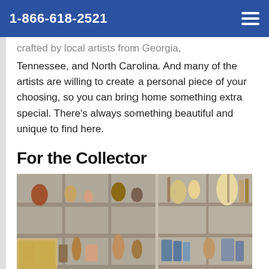1-866-618-2521
crafted by local artists from Georgia, Tennessee, and North Carolina. And many of the artists are willing to create a personal piece of your choosing, so you can bring home something extra special. There's always something beautiful and unique to find here.
For the Collector
[Figure (photo): Photo of shelves filled with collectible items, pottery, baskets, lamps, and various antiques in a shop setting.]